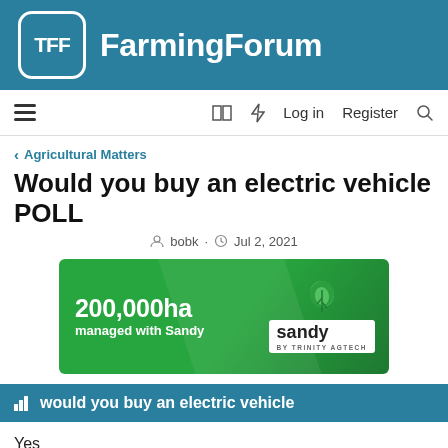TFF FarmingForum
Agricultural Matters
Would you buy an electric vehicle POLL
bobk · Jul 2, 2021
[Figure (illustration): Green banner advertisement: 200,000ha managed with Sandy, by Trinity AgTech]
would you buy an electric vehicle
Yes
No